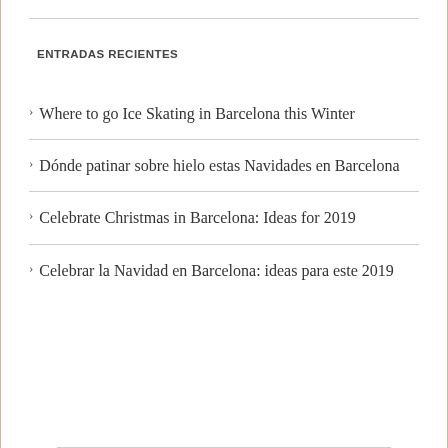ENTRADAS RECIENTES
Where to go Ice Skating in Barcelona this Winter
Dónde patinar sobre hielo estas Navidades en Barcelona
Celebrate Christmas in Barcelona: Ideas for 2019
Celebrar la Navidad en Barcelona: ideas para este 2019